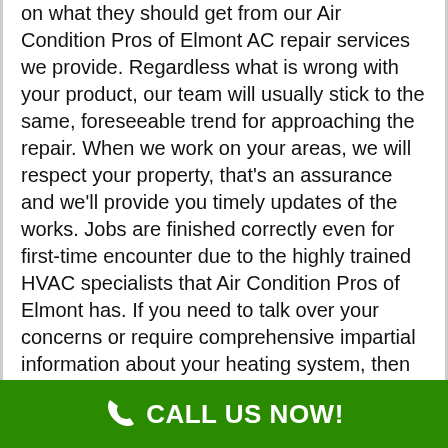on what they should get from our Air Condition Pros of Elmont AC repair services we provide. Regardless what is wrong with your product, our team will usually stick to the same, foreseeable trend for approaching the repair. When we work on your areas, we will respect your property, that's an assurance and we'll provide you timely updates of the works. Jobs are finished correctly even for first-time encounter due to the highly trained HVAC specialists that Air Condition Pros of Elmont has. If you need to talk over your concerns or require comprehensive impartial information about your heating system, then do not think twice to make contact with our very helpful company, who are waiting around for your call.
Clients within the commercial or residential areas within Elmont NY, you can avail of the A/C repair offered by Air Condition Pros of Elmont. As much as we are concerned, no job is too big or too little. Our commitment of providing quality is still identical to
CALL US NOW!